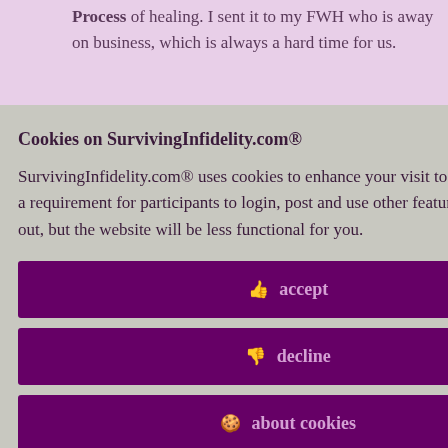Process of healing. I sent it to my FWH who is away on business, which is always a hard time for us.
[Figure (screenshot): Purple/lavender background page with text fragments visible behind cookie modal overlay]
Cookies on SurvivingInfidelity.com®
SurvivingInfidelity.com® uses cookies to enhance your visit to our website. This is a requirement for participants to login, post and use other features. Visitors may opt out, but the website will be less functional for you.
👍 accept
👎 decline
🍪 about cookies
hem my own
ind you of how our willingness
for the first
d and whole
Policy